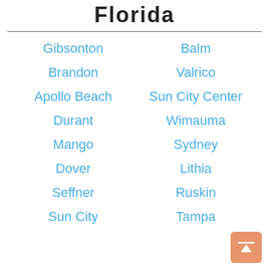Florida
Gibsonton
Balm
Brandon
Valrico
Apollo Beach
Sun City Center
Durant
Wimauma
Mango
Sydney
Dover
Lithia
Seffner
Ruskin
Sun City
Tampa